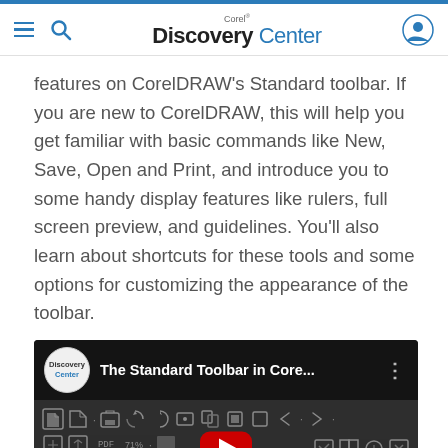Corel Discovery Center
features on CorelDRAW’s Standard toolbar. If you are new to CorelDRAW, this will help you get familiar with basic commands like New, Save, Open and Print, and introduce you to some handy display features like rulers, full screen preview, and guidelines. You’ll also learn about shortcuts for these tools and some options for customizing the appearance of the toolbar.
[Figure (screenshot): YouTube video thumbnail showing 'The Standard Toolbar in Core...' from Discovery Center channel, with CorelDRAW toolbar icons visible in the background and a play button overlay.]